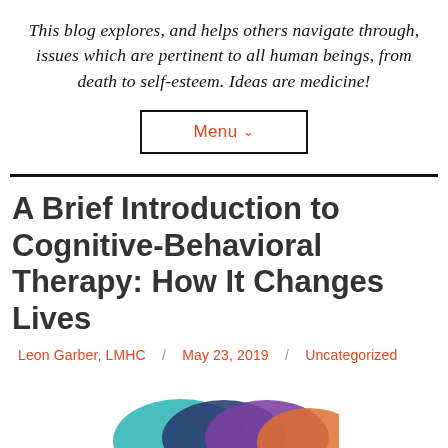This blog explores, and helps others navigate through, issues which are pertinent to all human beings, from death to self-esteem. Ideas are medicine!
Menu
A Brief Introduction to Cognitive-Behavioral Therapy: How It Changes Lives
Leon Garber, LMHC / May 23, 2019 / Uncategorized
[Figure (illustration): Partial view of overlapping colored circles (teal, dark blue, purple, orange) forming a Venn-diagram-like illustration at the bottom of the page]